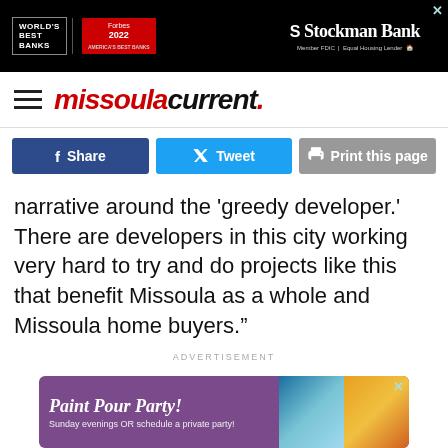[Figure (screenshot): Stockman Bank advertisement banner with Forbes World's Best Banks 2022 badge on black background]
missoula current.
[Figure (screenshot): Social share buttons: Facebook Share, Twitter Tweet, Print this page]
narrative around the 'greedy developer.' There are developers in this city working very hard to try and do projects like this that benefit Missoula as a whole and Missoula home buyers.”
ADVERTISEMENT
[Figure (screenshot): Paint Pour Party advertisement - Sunday evenings OR schedule a private party!]